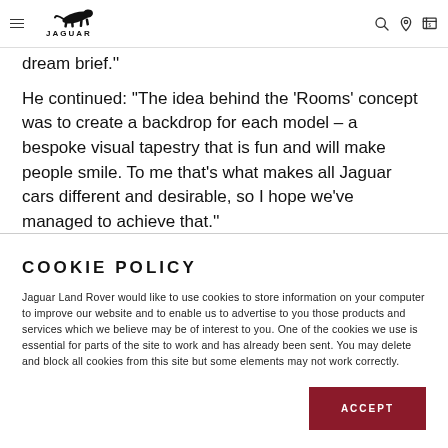Jaguar navigation bar with logo, hamburger menu, search, location, and currency icons
dream brief.''
He continued: ''The idea behind the 'Rooms' concept was to create a backdrop for each model – a bespoke visual tapestry that is fun and will make people smile. To me that's what makes all Jaguar cars different and desirable, so I hope we've managed to achieve that.''
COOKIE POLICY
Jaguar Land Rover would like to use cookies to store information on your computer to improve our website and to enable us to advertise to you those products and services which we believe may be of interest to you. One of the cookies we use is essential for parts of the site to work and has already been sent. You may delete and block all cookies from this site but some elements may not work correctly.
ACCEPT